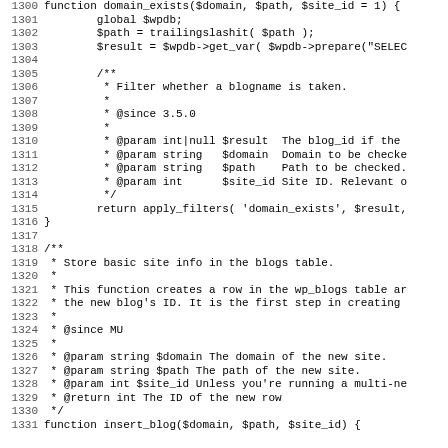[Figure (screenshot): Source code listing showing PHP functions domain_exists and insert_blog with line numbers 1300-1331, displayed in monospace font on white background.]